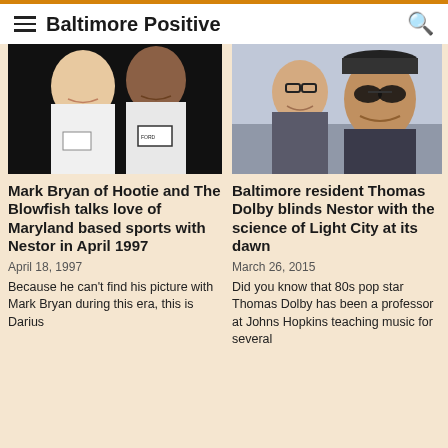Baltimore Positive
[Figure (photo): Two men smiling, wearing white shirts with name tags, black background]
Mark Bryan of Hootie and The Blowfish talks love of Maryland based sports with Nestor in April 1997
April 18, 1997
Because he can't find his picture with Mark Bryan during this era, this is Darius
[Figure (photo): Two men smiling for a selfie outdoors, one wearing glasses and a jacket, other wearing sunglasses and a hoodie]
Baltimore resident Thomas Dolby blinds Nestor with the science of Light City at its dawn
March 26, 2015
Did you know that 80s pop star Thomas Dolby has been a professor at Johns Hopkins teaching music for several